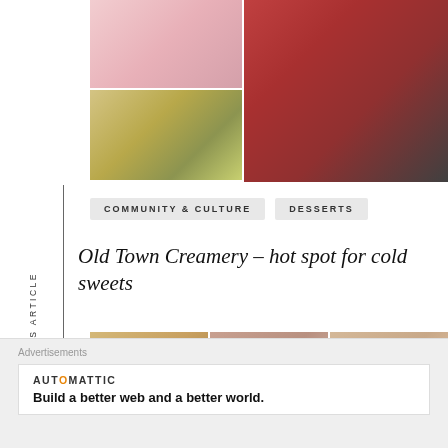[Figure (photo): Food photo collage at top: left column shows two dessert/food photos (pink/cream dessert top, garnished bowl bottom), right shows a glass bowl with red frozen dessert and dark berries]
COMMUNITY & CULTURE
DESSERTS
Old Town Creamery – hot spot for cold sweets
[Figure (photo): Three food photos in a row: left shows pastries/cookies on a board, center shows decorated sweets with 'Happy' text overlay, right shows a rose-topped cupcake]
PREVIOUS ARTICLE
Advertisements
AUTOMATTIC
Build a better web and a better world.